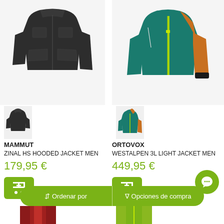[Figure (photo): Dark charcoal Mammut Zinal HS Hooded Jacket Men — main product photo showing front of jacket]
[Figure (photo): Teal and orange Ortovox Westalpen 3L Light Jacket Men — main product photo showing front of jacket]
[Figure (photo): Small thumbnail of dark hooded Mammut jacket]
[Figure (photo): Small thumbnail of teal/orange hooded Ortovox jacket]
MAMMUT
ZINAL HS HOODED JACKET MEN
179,95 €
ORTOVOX
WESTALPEN 3L LIGHT JACKET MEN
449,95 €
↕ Ordenar por
▽ Opciones de compra